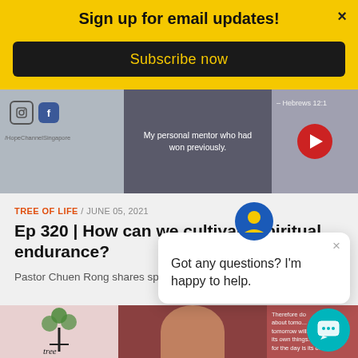Sign up for email updates!
Subscribe now
[Figure (screenshot): Website screenshot showing video thumbnails: left panel with Instagram/Facebook icons and @HopeChannelSingapore handle, center panel with text 'My personal mentor who had won previously.', right panel with Hebrews 12:1 reference and red play button]
TREE OF LIFE / JUNE 05, 2021
Ep 320 | How can we cultivate spiritual endurance?
Pastor Chuen Rong shares spiritual endurance.
Got any questions? I'm happy to help.
[Figure (screenshot): Bottom strip showing Tree of Life logo on left, a person's face in center, and Bible verse about tomorrow on right]